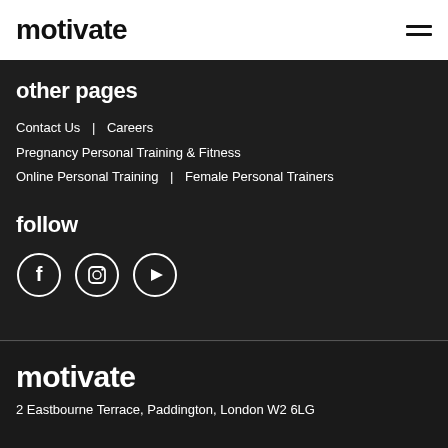motivate
other pages
Contact Us  |  Careers
Pregnancy Personal Training & Fitness
Online Personal Training  |  Female Personal Trainers
follow
[Figure (illustration): Three social media icons in circles: Facebook (f), Instagram (camera), YouTube (play button)]
motivate
2 Eastbourne Terrace, Paddington, London W2 6LG